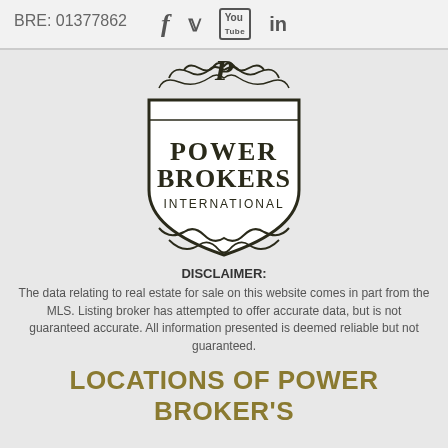BRE: 01377862
[Figure (logo): Power Brokers International shield logo with decorative scrollwork]
DISCLAIMER:
The data relating to real estate for sale on this website comes in part from the MLS.  Listing broker has attempted to offer accurate data, but is not guaranteed accurate.  All information presented is deemed reliable but not guaranteed.
LOCATIONS OF POWER BROKER'S